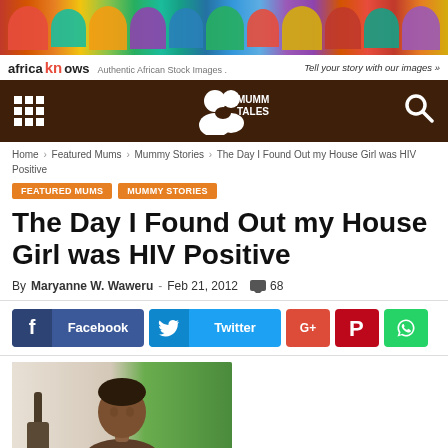[Figure (photo): Africa Knows stock images advertisement banner showing colorful African head wraps and fabrics]
[Figure (logo): Mummy Tales website logo on dark brown navigation bar with grid menu icon and search icon]
Home > Featured Mums > Mummy Stories > The Day I Found Out my House Girl was HIV Positive
FEATURED MUMS  MUMMY STORIES
The Day I Found Out my House Girl was HIV Positive
By Maryanne W. Waweru - Feb 21, 2012  68
[Figure (screenshot): Social sharing buttons: Facebook, Twitter, G+, Pinterest, WhatsApp]
[Figure (photo): Photo of a woman (the author or house girl) with short hair, wearing a bag strap, with green outdoors background]